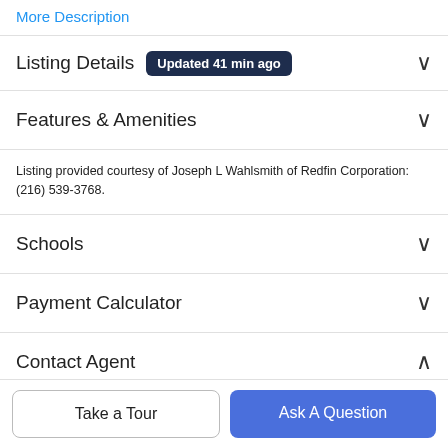More Description
Listing Details  Updated 41 min ago
Features & Amenities
Listing provided courtesy of Joseph L Wahlsmith of Redfin Corporation: (216) 539-3768.
Schools
Payment Calculator
Contact Agent
Take a Tour
Ask A Question